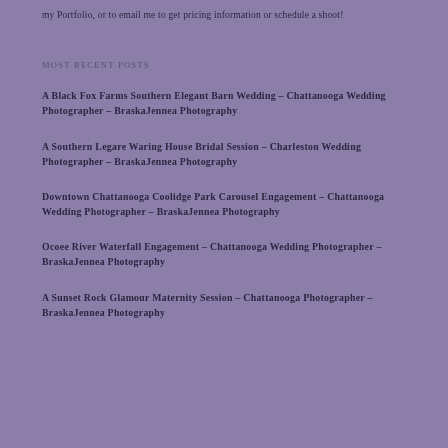my Portfolio, or to email me to get pricing information or schedule a shoot!
MOST RECENT POSTS
A Black Fox Farms Southern Elegant Barn Wedding – Chattanooga Wedding Photographer – BraskaJennea Photography
A Southern Legare Waring House Bridal Session – Charleston Wedding Photographer – BraskaJennea Photography
Downtown Chattanooga Coolidge Park Carousel Engagement – Chattanooga Wedding Photographer – BraskaJennea Photography
Ocoee River Waterfall Engagement – Chattanooga Wedding Photographer – BraskaJennea Photography
A Sunset Rock Glamour Maternity Session – Chattanooga Photographer – BraskaJennea Photography